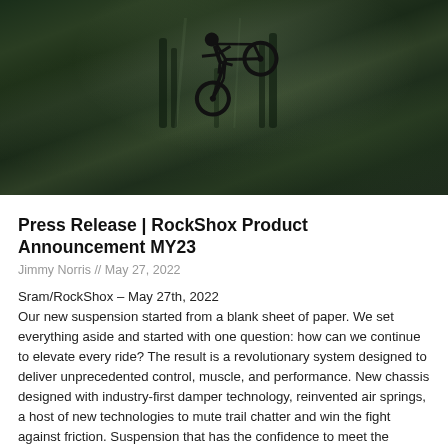[Figure (photo): Mountain biker performing a jump in a dense green forest, airborne with bike inverted, dark moody lighting]
Press Release | RockShox Product Announcement MY23
Jimmy Norris // May 27, 2022
Sram/RockShox – May 27th, 2022
Our new suspension started from a blank sheet of paper. We set everything aside and started with one question: how can we continue to elevate every ride? The result is a revolutionary system designed to deliver unprecedented control, muscle, and performance. New chassis designed with industry-first damper technology, reinvented air springs, a host of new technologies to mute trail chatter and win the fight against friction. Suspension that has the confidence to meet the demands of riders today and empower them to take the sport